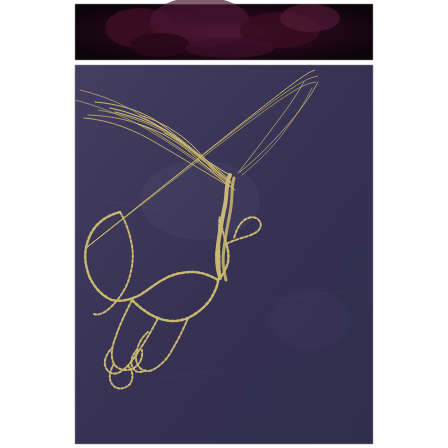[Figure (photo): Two photographs stacked vertically. Top image: close-up of dark purple/maroon crystalline or floral material. Bottom image: a dark navy/blue-grey textured fabric (linen or burlap) with an embroidered or stitched galloping horse outline in golden/cream thread. The horse body is formed by chain stitch in gold thread, while the mane and tail are rendered with loose fraying natural fibers fanning outward dramatically.]